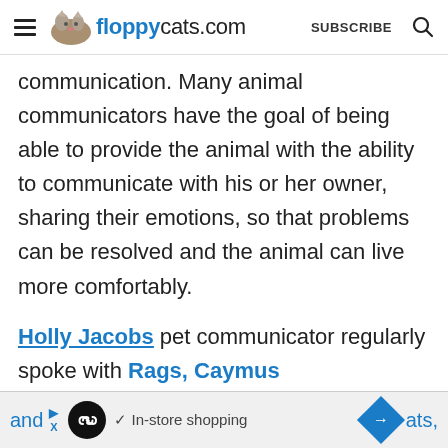floppycats.com  SUBSCRIBE
communication. Many animal communicators have the goal of being able to provide the animal with the ability to communicate with his or her owner, sharing their emotions, so that problems can be resolved and the animal can live more comfortably.
Holly Jacobs pet communicator regularly spoke with Rags, Caymus and [ad banner] ats,